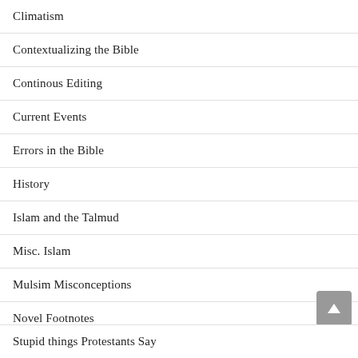Climatism
Contextualizing the Bible
Continous Editing
Current Events
Errors in the Bible
History
Islam and the Talmud
Misc. Islam
Mulsim Misconceptions
Novel Footnotes
People of Early Islam
Stupid things Atheists Say
Stupid Things Muslims Say
Stupid things Protestants Say